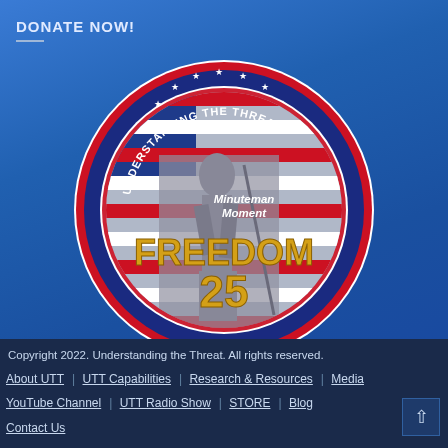DONATE NOW!
[Figure (logo): Circular logo for 'Understanding the Threat - Minuteman Moment FREEDOM 25' featuring a minuteman statue against an American flag background, surrounded by a blue and red ring with white stars]
Copyright 2022. Understanding the Threat. All rights reserved. | About UTT | UTT Capabilities | Research & Resources | Media | YouTube Channel | UTT Radio Show | STORE | Blog | Contact Us